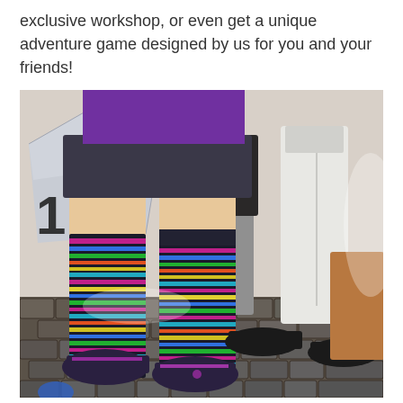exclusive workshop, or even get a unique adventure game designed by us for you and your friends!
[Figure (photo): Outdoor photo showing people standing on a cobblestone plaza. Two people in the foreground wear colorful rainbow-striped knee-high socks and sneakers. One person wears a purple top with denim shorts, the other wears black. In the background are more people and a modern angular building facade.]